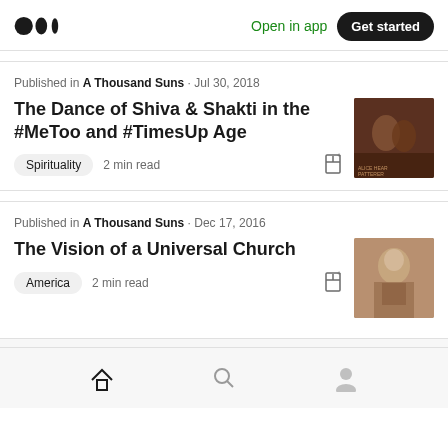Open in app  Get started
Published in A Thousand Suns · Jul 30, 2018
The Dance of Shiva & Shakti in the #MeToo and #TimesUp Age
Spirituality  2 min read
Published in A Thousand Suns · Dec 17, 2016
The Vision of a Universal Church
America  2 min read
Home  Search  Profile